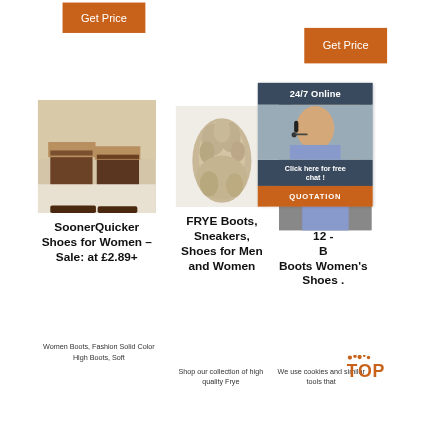[Figure (other): Orange 'Get Price' button top left]
[Figure (other): Orange 'Get Price' button top right]
[Figure (photo): Person wearing brown ankle boots with tan trousers on a light floor]
[Figure (photo): Fluffy sheepskin rug / small animal fur piece]
[Figure (photo): Woman with headset smiling - customer service representative, partially covered by chat widget]
[Figure (infographic): 24/7 Online chat widget with dark header, customer service image, 'Click here for free chat!' text and orange QUOTATION button]
SoonerQuicker Shoes for Women – Sale: at £2.89+
FRYE Boots, Sneakers, Shoes for Men and Women
Ama... 12 - B... Boots Women's Shoes ...
Women Boots, Fashion Solid Color High Boots, Soft
Shop our collection of high quality Frye
We use cookies and similar tools that